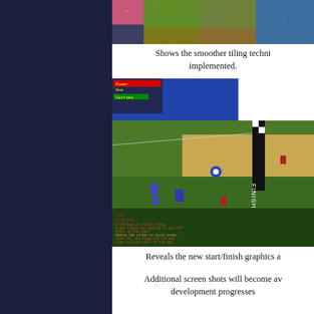[Figure (screenshot): Top portion of a game map screenshot showing colorful terrain with pink, green, blue and brown areas with noise/texture]
Shows the smoother tiling technique implemented.
[Figure (screenshot): Game screenshot showing a top-down racing/strategy game with grass and dirt terrain, a finish line banner, a motorcycle racer, colored flags, and a text menu overlay at the bottom with game commands]
Reveals the new start/finish graphics a
Additional screen shots will become av development progresses